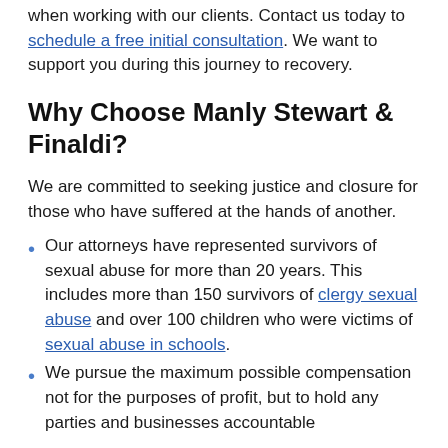when working with our clients. Contact us today to schedule a free initial consultation. We want to support you during this journey to recovery.
Why Choose Manly Stewart & Finaldi?
We are committed to seeking justice and closure for those who have suffered at the hands of another.
Our attorneys have represented survivors of sexual abuse for more than 20 years. This includes more than 150 survivors of clergy sexual abuse and over 100 children who were victims of sexual abuse in schools.
We pursue the maximum possible compensation not for the purposes of profit, but to hold any parties and businesses accountable